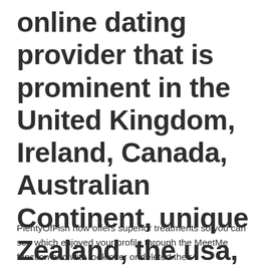online dating provider that is prominent in the United Kingdom, Ireland, Canada, Australian Continent, unique Zealand, the usa, and Brazil.
PlentyOfFish now offers superior treatments so you can see which enjoyed your profile through the MeetMe function and with look over or deleted their